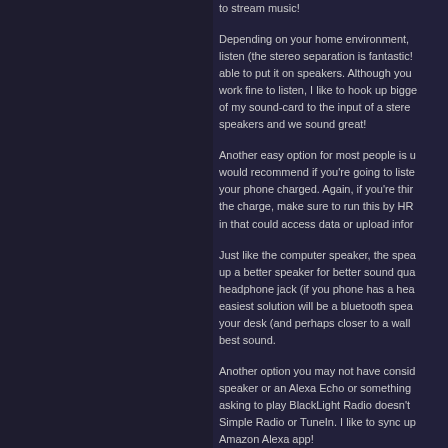to stream music!
Depending on your home environment, listen (the stereo separation is fantastic!) able to put it on speakers. Although you work fine to listen, I like to hook up bigger of my sound-card to the input of a stereo speakers and we sound great!
Another easy option for most people is u would recommend if you're going to liste your phone charged. Again, if you're thi the charge, make sure to run this by HR in that could access data or upload infor
Just like the computer speaker, the spea up a better speaker for better sound qua headphone jack (if you phone has a hea easiest solution will be a bluetooth spea your desk (and perhaps closer to a wall best sound.
Another option you may not have consid speaker or an Alexa Echo or something asking to play BlackLight Radio doesn't Simple Radio or TuneIn. I like to sync up Amazon Alexa app!
Perhaps you can think of other ways to l love to hear your suggestions, and I kno